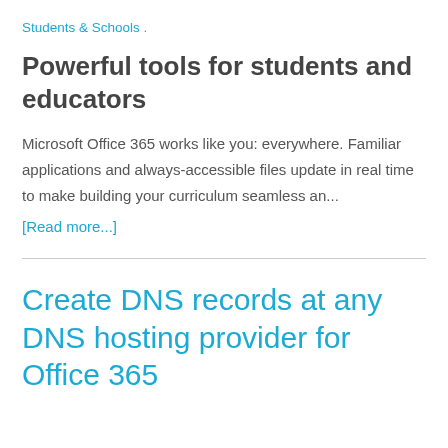Students & Schools .
Powerful tools for students and educators
Microsoft Office 365 works like you: everywhere. Familiar applications and always-accessible files update in real time to make building your curriculum seamless an...
[Read more...]
Create DNS records at any DNS hosting provider for Office 365